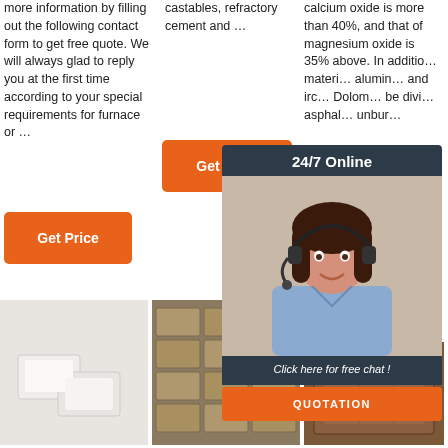more information by filling out the following contact form to get free quote. We will always glad to reply you at the first time according to your special requirements for furnace or …
castables, refractory cement and …
calcium oxide is more than 40%, and that of magnesium oxide is 35% above. In addition, the material is alumin… and iro… Dolom… be divi… asphal… unbur…
[Figure (other): Orange 'Get Price' button in column 2]
[Figure (other): Chat widget overlay with headset woman photo, '24/7 Online' header, 'Click here for free chat!' footer, and QUOTATION button]
[Figure (other): Orange 'Get Price' button in column 1 bottom]
[Figure (other): Orange 'Get Price' button in column 3 bottom]
[Figure (logo): TOP logo with orange dotted triangle above the word TOP]
[Figure (photo): Product photo bottom left: white/grey refractory bricks]
[Figure (photo): Product photo bottom center: stacked refractory bricks]
[Figure (photo): Product photo bottom right: brown refractory brick]